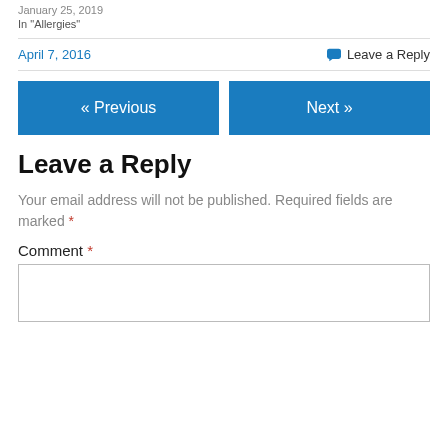January 25, 2019
In "Allergies"
April 7, 2016
Leave a Reply
« Previous
Next »
Leave a Reply
Your email address will not be published. Required fields are marked *
Comment *